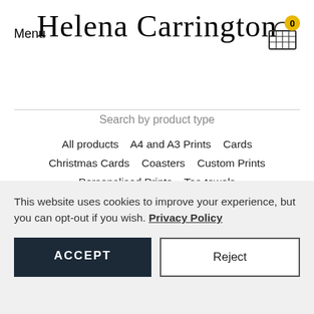Menu
Helena Carrington
Search by product type
All products   A4 and A3 Prints   Cards   Christmas Cards   Coasters   Custom Prints   Personalised Prints   Tea towels
Search by subject
This website uses cookies to improve your experience, but you can opt-out if you wish. Privacy Policy
ACCEPT
Reject